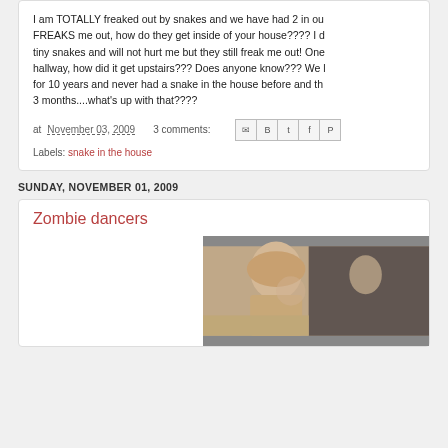I am TOTALLY freaked out by snakes and we have had 2 in ou... FREAKS me out, how do they get inside of your house???? I d... tiny snakes and will not hurt me but they still freak me out! One hallway, how did it get upstairs??? Does anyone know??? We l for 10 years and never had a snake in the house before and th 3 months....what's up with that????
at November 03, 2009   3 comments:
Labels: snake in the house
SUNDAY, NOVEMBER 01, 2009
Zombie dancers
[Figure (photo): Photo of a person, appears to be a young person with light hair, partial face visible, dark background]